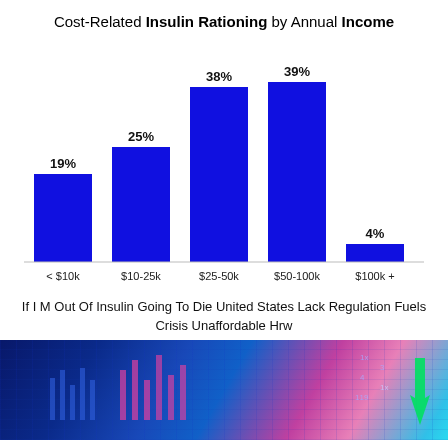Cost-Related Insulin Rationing by Annual Income
[Figure (bar-chart): Cost-Related Insulin Rationing by Annual Income]
If I M Out Of Insulin Going To Die United States Lack Regulation Fuels Crisis Unaffordable Hrw
[Figure (photo): Financial stock market data screen with blue and pink candlestick chart and upward green arrow, blurred background]